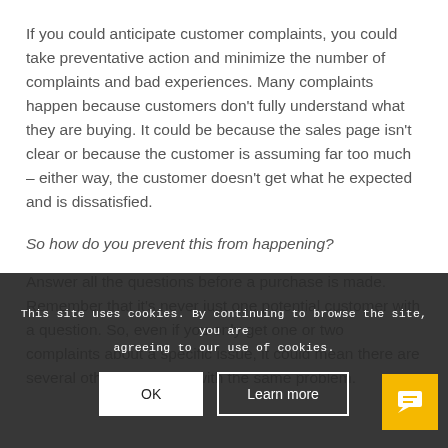If you could anticipate customer complaints, you could take preventative action and minimize the number of complaints and bad experiences. Many complaints happen because customers don't fully understand what they are buying. It could be because the sales page isn't clear or because the customer is assuming far too much – either way, the customer doesn't get what he expected and is dissatisfied.
So how do you prevent this from happening?
Answer all the questions before a purchase is made. Remember that it's never just one potential customer with a question. So, even if you only get one or two complaints about a specific issue, it could mean there are several other customers with the same problem.
This site uses cookies. By continuing to browse the site, you are agreeing to our use of cookies.